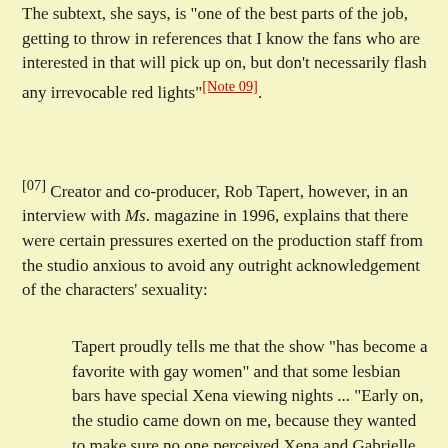The subtext, she says, is "one of the best parts of the job, getting to throw in references that I know the fans who are interested in that will pick up on, but don't necessarily flash any irrevocable red lights"[Note 09].
[07] Creator and co-producer, Rob Tapert, however, in an interview with Ms. magazine in 1996, explains that there were certain pressures exerted on the production staff from the studio anxious to avoid any outright acknowledgement of the characters' sexuality:
Tapert proudly tells me that the show "has become a favorite with gay women" and that some lesbian bars have special Xena viewing nights ... "Early on, the studio came down on me, because they wanted to make sure no one perceived Xena and Gabrielle as lesbians," the producer